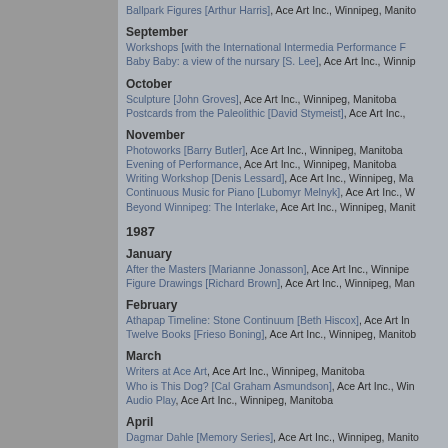Ballpark Figures [Arthur Harris], Ace Art Inc., Winnipeg, Manitoba
September
Workshops [with the International Intermedia Performance F...], Ace Art Inc., Winnipeg, Manitoba
Baby Baby: a view of the nursary [S. Lee], Ace Art Inc., Winnipeg, Manitoba
October
Sculpture [John Groves], Ace Art Inc., Winnipeg, Manitoba
Postcards from the Paleolithic [David Stymeist], Ace Art Inc., ...
November
Photoworks [Barry Butler], Ace Art Inc., Winnipeg, Manitoba
Evening of Performance, Ace Art Inc., Winnipeg, Manitoba
Writing Workshop [Denis Lessard], Ace Art Inc., Winnipeg, Manitoba
Continuous Music for Piano [Lubomyr Melnyk], Ace Art Inc., Winnipeg, Manitoba
Beyond Winnipeg: The Interlake, Ace Art Inc., Winnipeg, Manitoba
1987
January
After the Masters [Marianne Jonasson], Ace Art Inc., Winnipeg, Manitoba
Figure Drawings [Richard Brown], Ace Art Inc., Winnipeg, Manitoba
February
Athapap Timeline: Stone Continuum [Beth Hiscox], Ace Art Inc., Winnipeg, Manitoba
Twelve Books [Frieso Boning], Ace Art Inc., Winnipeg, Manitoba
March
Writers at Ace Art, Ace Art Inc., Winnipeg, Manitoba
Who is This Dog? [Cal Graham Asmundson], Ace Art Inc., Winnipeg, Manitoba
Audio Play, Ace Art Inc., Winnipeg, Manitoba
April
Dagmar Dahle [Memory Series], Ace Art Inc., Winnipeg, Manitoba